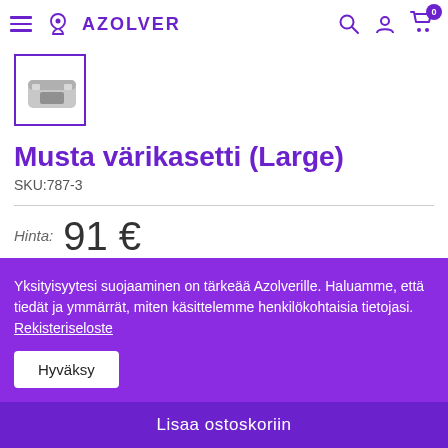AZOLVER
[Figure (photo): Product thumbnail image of a black ink cartridge (Large), shown in a purple-bordered box]
Musta värikasetti (Large)
SKU:787-3
Hinta: 91 €
Yksityisyytesi suojaaminen on tärkeää Azolverille. Haluamme, että tiedät ja ymmärrät, miten käsittelemme henkilökohtaisia tietojasi. Rekisteriseloste
Hyväksy
Lisaa ostoskoriin